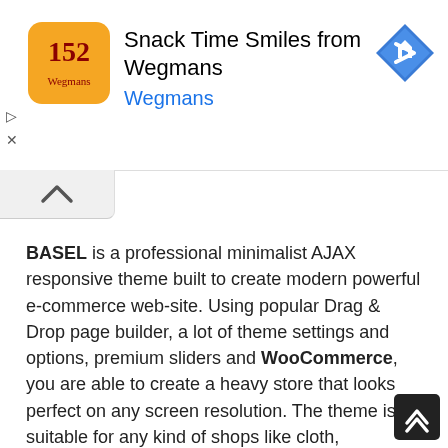[Figure (screenshot): Ad banner for Wegmans: orange logo, text 'Snack Time Smiles from Wegmans' and 'Wegmans', with a blue navigation arrow icon on the right]
[Figure (other): Collapsed tab/chevron UI element (up arrow in a rounded tab)]
BASEL is a professional minimalist AJAX responsive theme built to create modern powerful e-commerce web-site. Using popular Drag & Drop page builder, a lot of theme settings and options, premium sliders and WooCommerce, you are able to create a heavy store that looks perfect on any screen resolution. The theme is suitable for any kind of shops like cloth, electronics, furniture, accessories, flowers or any other.
Compatible with WordPress 4.7/4.8/4.9/5.0+ and WooCommerce 3.5+